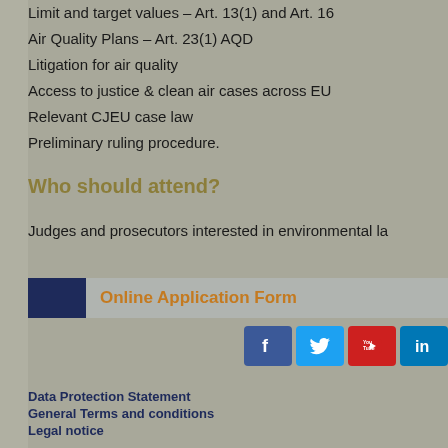Limit and target values – Art. 13(1) and Art. 16
Air Quality Plans – Art. 23(1) AQD
Litigation for air quality
Access to justice & clean air cases across EU
Relevant CJEU case law
Preliminary ruling procedure.
Who should attend?
Judges and prosecutors interested in environmental la
Online Application Form
[Figure (logo): Social media icons: Facebook, Twitter, YouTube, LinkedIn]
Data Protection Statement
General Terms and conditions
Legal notice